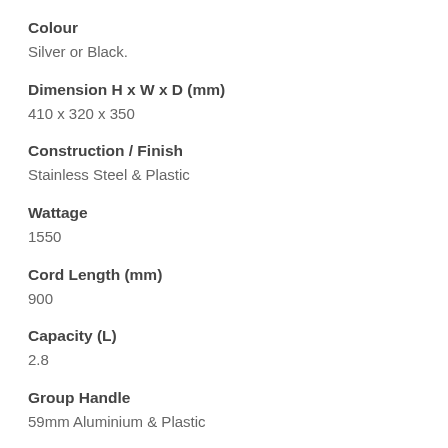Colour
Silver or Black.
Dimension H x W x D (mm)
410 x 320 x 350
Construction / Finish
Stainless Steel & Plastic
Wattage
1550
Cord Length (mm)
900
Capacity (L)
2.8
Group Handle
59mm Aluminium & Plastic